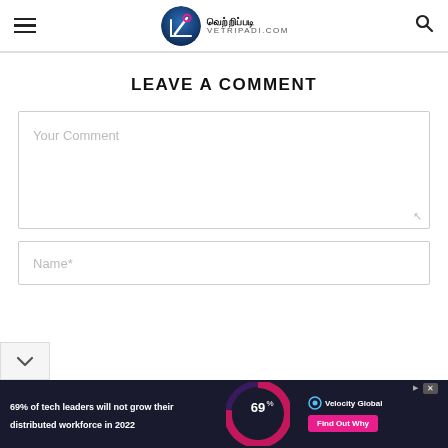≡ வெற்றிப்படி VETRIPADI.COM 🔍
LEAVE A COMMENT
Your Comment
Name*
[Figure (infographic): Advertisement banner: dark navy background. Left text: '69% of tech leaders will not grow their distributed workforce in 2022'. Center: circular donut graphic with '69%' in large text. Right: Velocity Global logo and 'Find Out Why' pink button.]